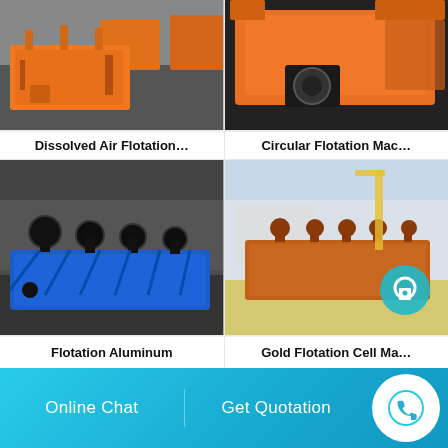[Figure (photo): Orange dissolved air flotation machine in an industrial workshop setting]
Dissolved Air Flotation…
[Figure (photo): Close-up of orange circular flotation machine showing circular air intake]
Circular Flotation Mac…
[Figure (photo): Blue flotation aluminum machine with multiple impeller agitators lined up]
Flotation Aluminum
[Figure (photo): Orange gold flotation cell machines in industrial outdoor setting with teal lock icon overlay]
Gold Flotation Cell Ma…
Online Chat
Get Quotation